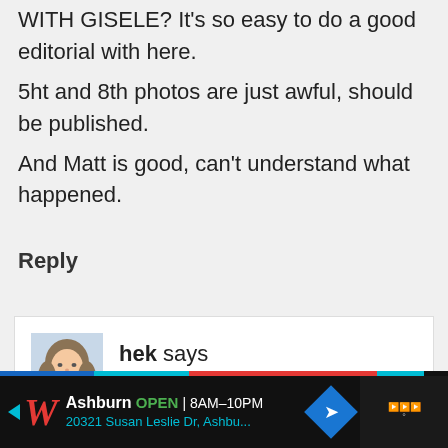WITH GISELE? It's so easy to do a good editorial with here. 5ht and 8th photos are just awful, should be published. And Matt is good, can't understand what happened.
Reply
[Figure (photo): Avatar photo of user hek, showing a woman with long hair]
hek says
[Figure (screenshot): Advertisement bar for Walgreens: Ashburn OPEN 8AM-10PM, 20321 Susan Leslie Dr, Ashbu...]